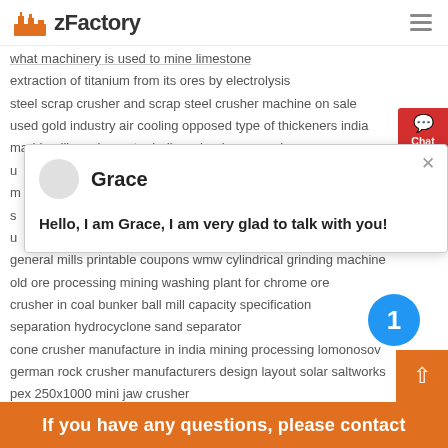zFactory
what machinery is used to mine limestone
extraction of titanium from its ores by electrolysis
steel scrap crusher and scrap steel crusher machine on sale
used gold industry air cooling opposed type of thickeners india
marble pill crusher set grinding wheel accessories
general mills printable coupons wmw cylindrical grinding machine
old ore processing mining washing plant for chrome ore
crusher in coal bunker ball mill capacity specification
separation hydrocyclone sand separator
cone crusher manufacture in india mining processing lomonosov
german rock crusher manufacturers design layout solar saltworks
pex 250x1000 mini jaw crusher
Grace
Hello, I am Grace, I am very glad to talk with you!
If you have any questions, please contact